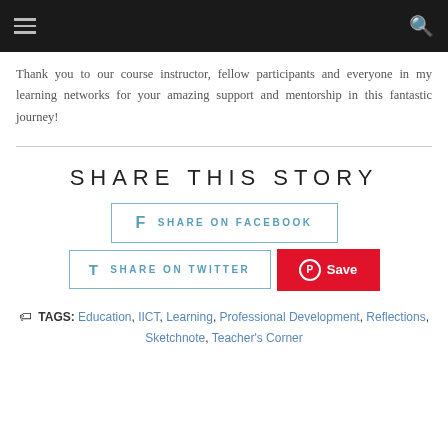[Navigation bar with hamburger menu and search icon]
Thank you to our course instructor, fellow participants and everyone in my learning networks for your amazing support and mentorship in this fantastic journey!
SHARE THIS STORY
[Figure (other): Share buttons: Share on Facebook, Share on Twitter, Pinterest Save]
TAGS: Education, IICT, Learning, Professional Development, Reflections, Sketchnote, Teacher's Corner